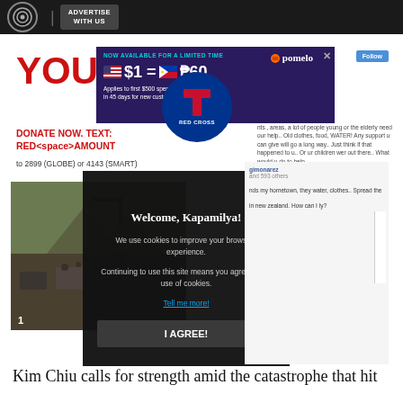ADVERTISE WITH US
[Figure (screenshot): ABS-CBN news website screenshot showing a cookie consent modal overlay ('Welcome, Kapamilya! We use cookies to improve your browsing experience. Continuing to use this site means you agree to our use of cookies. Tell me more! I AGREE!'), a Pomelo ad banner ($1 = P60), a Red Cross donation appeal with disaster photo, and social media comments.]
Kim Chiu calls for strength amid the catastrophe that hit